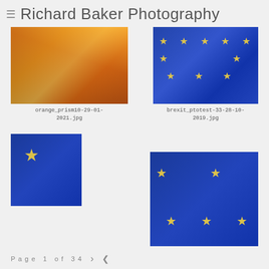Richard Baker Photography
[Figure (photo): Orange prism street photography — reflections in an orange glass panel showing street scene with figures and buildings]
orange_prism10-29-01-2021.jpg
[Figure (photo): EU flag with yellow stars on blue background with Union Jack reflection — Brexit protest photo]
brexit_ptotest-33-28-10-2019.jpg
[Figure (photo): Close-up of EU flag showing large yellow star on blue with Union Jack visible through flag]
[Figure (photo): EU flag with yellow stars on blue, Union Jack visible in reflection, Brexit protest]
Page 1 of 34